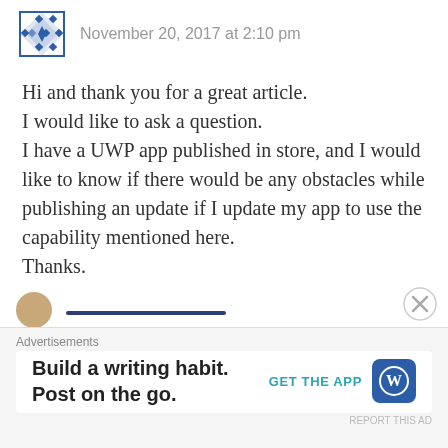November 20, 2017 at 2:10 pm
Hi and thank you for a great article.
I would like to ask a question.
I have a UWP app published in store, and I would like to know if there would be any obstacles while publishing an update if I update my app to use the capability mentioned here.
Thanks.
Like
REPLY
[Figure (screenshot): Advertisement banner: 'Build a writing habit. Post on the go.' with GET THE APP button and WordPress logo]